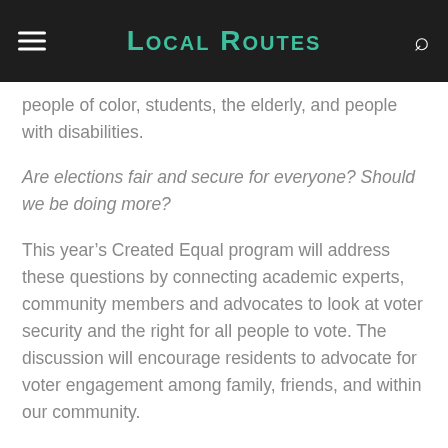Local Routes
people of color, students, the elderly, and people with disabilities.
Are elections fair and secure for everyone? Should we be doing more?
This year’s Created Equal program will address these questions by connecting academic experts, community members and advocates to look at voter security and the right for all people to vote. The discussion will encourage residents to advocate for voter engagement among family, friends, and within our community.